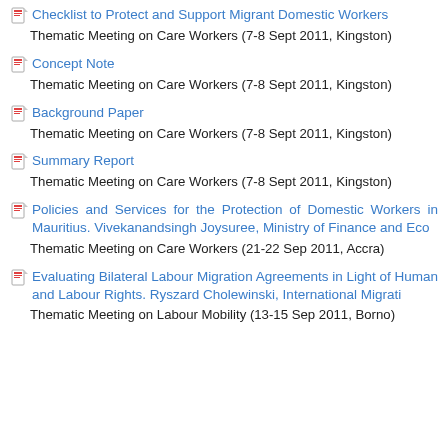Checklist to Protect and Support Migrant Domestic Workers
Thematic Meeting on Care Workers (7-8 Sept 2011, Kingston)
Concept Note
Thematic Meeting on Care Workers (7-8 Sept 2011, Kingston)
Background Paper
Thematic Meeting on Care Workers (7-8 Sept 2011, Kingston)
Summary Report
Thematic Meeting on Care Workers (7-8 Sept 2011, Kingston)
Policies and Services for the Protection of Domestic Workers in Mauritius. Vivekanandsingh Joysuree, Ministry of Finance and Eco
Thematic Meeting on Care Workers (21-22 Sep 2011, Accra)
Evaluating Bilateral Labour Migration Agreements in Light of Human and Labour Rights. Ryszard Cholewinski, International Migrati
Thematic Meeting on Labour Mobility (13-15 Sep 2011, Borno)